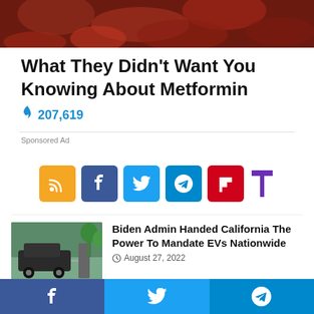[Figure (photo): Close-up photo of reddish-brown food items (appears to be meat or similar), cropped at top]
What They Didn't Want You Knowing About Metformin
🔥 207,619
Sponsored Ad
[Figure (infographic): Row of social media share buttons: RSS (orange), Facebook (blue), Twitter (light blue), Telegram (dark blue), Flipboard (red), Typo (purple T)]
[Figure (photo): Photo of an electric vehicle being charged at a charging station with trees in background]
Biden Admin Handed California The Power To Mandate EVs Nationwide
August 27, 2022
[Figure (photo): Photo of person in front of American flags]
One Economic Indicator Could Be Dems'